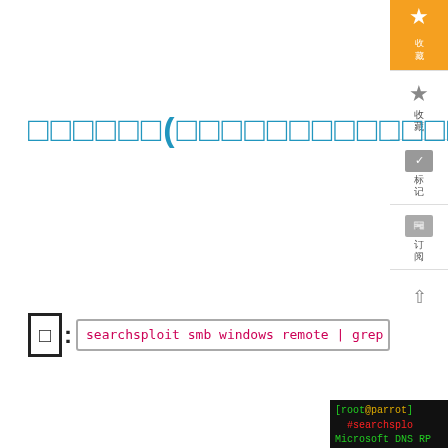□□□□□□(□□□□□□□□□□□□□□□)
□: searchsploit smb windows remote | grep rb
[Figure (screenshot): Terminal screenshot showing searchsploit command output with root@parrot prompt, displaying Microsoft DNS RPC and Microsoft Windows SMB entries in green/yellow/white text on black background.]